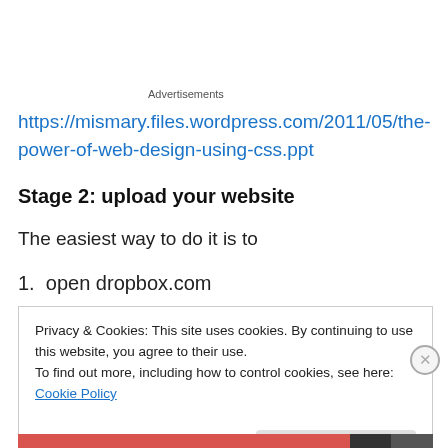Advertisements
https://mismary.files.wordpress.com/2011/05/the-power-of-web-design-using-css.ppt
Stage 2: upload your website
The easiest way to do it is to
1. open dropbox.com
Privacy & Cookies: This site uses cookies. By continuing to use this website, you agree to their use.
To find out more, including how to control cookies, see here: Cookie Policy
Close and accept